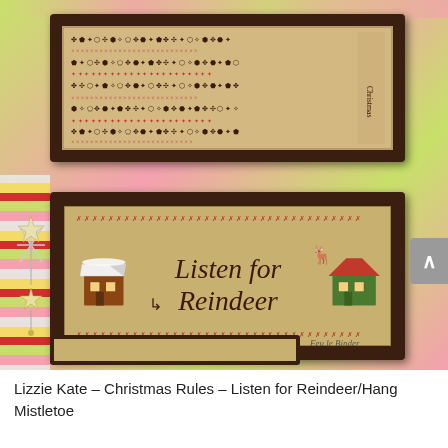[Figure (photo): Product photo showing two framed cross-stitch pieces by Lizzie Kate. The top frame contains 'Christmas Rules' cross-stitch with dense small symbols and text in brown and red on linen fabric. The bottom frame shows 'Listen for Reindeer' cross-stitch with the text in large brown lettering on tan linen, flanked by embroidered house motifs and bordered with red decorative stitching. Background is a colorful patchwork of pink and green fabrics. Left side has striped fabric and a decorative star ornament. A gray scroll-up button appears on the right side.]
Lizzie Kate – Christmas Rules – Listen for Reindeer/Hang Mistletoe